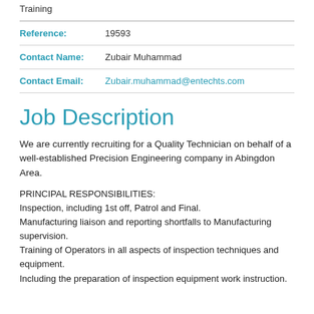Training
| Reference: | 19593 |
| Contact Name: | Zubair Muhammad |
| Contact Email: | Zubair.muhammad@entechts.com |
Job Description
We are currently recruiting for a Quality Technician on behalf of a well-established Precision Engineering company in Abingdon Area.
PRINCIPAL RESPONSIBILITIES:
Inspection, including 1st off, Patrol and Final.
Manufacturing liaison and reporting shortfalls to Manufacturing supervision.
Training of Operators in all aspects of inspection techniques and equipment.
Including the preparation of inspection equipment work instruction.